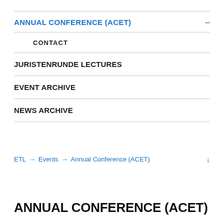ANNUAL CONFERENCE (ACET)
CONTACT
JURISTENRUNDE LECTURES
EVENT ARCHIVE
NEWS ARCHIVE
ETL → Events → Annual Conference (ACET) ↓
ANNUAL CONFERENCE (ACET)